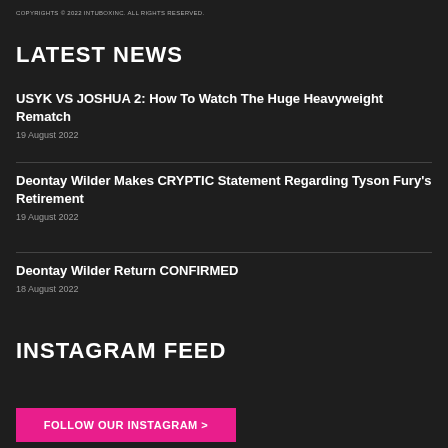COPYRIGHTS © 2022 INTUBOXINC. ALL RIGHTS RESERVED.
LATEST NEWS
USYK VS JOSHUA 2: How To Watch The Huge Heavyweight Rematch
19 August 2022
Deontay Wilder Makes CRYPTIC Statement Regarding Tyson Fury's Retirement
19 August 2022
Deontay Wilder Return CONFIRMED
18 August 2022
INSTAGRAM FEED
FOLLOW OUR INSTAGRAM >